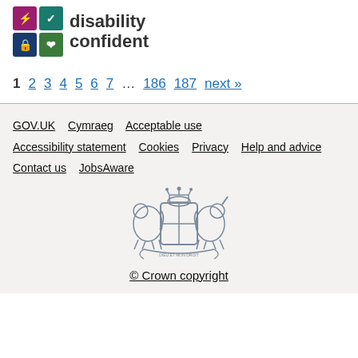[Figure (logo): Disability Confident logo with coloured icon grid and text 'disability confident']
1 2 3 4 5 6 7 ... 186 187 next »
GOV.UK  Cymraeg  Acceptable use  Accessibility statement  Cookies  Privacy  Help and advice  Contact us  JobsAware
[Figure (illustration): UK Royal Coat of Arms in grey]
© Crown copyright